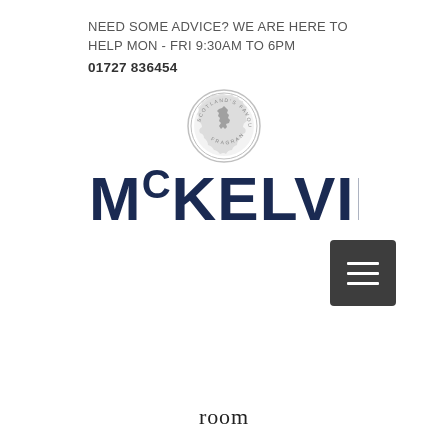NEED SOME ADVICE? WE ARE HERE TO HELP MON - FRI 9:30AM TO 6PM
01727 836454
[Figure (logo): Circular badge logo with Scotland map silhouette and text 'SCOTLAND'S FAVOURITE FRAGRANCES' around the edge]
MCKELVIE
[Figure (screenshot): Dark grey hamburger menu button with three horizontal white lines]
room